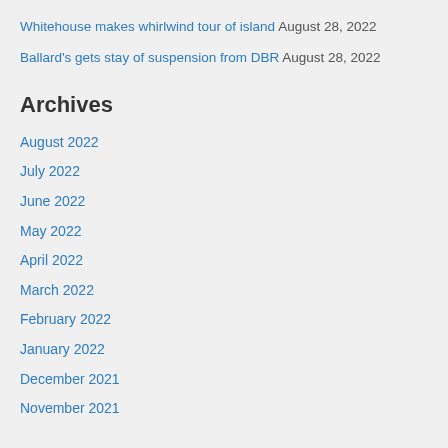Whitehouse makes whirlwind tour of island August 28, 2022
Ballard's gets stay of suspension from DBR August 28, 2022
Archives
August 2022
July 2022
June 2022
May 2022
April 2022
March 2022
February 2022
January 2022
December 2021
November 2021